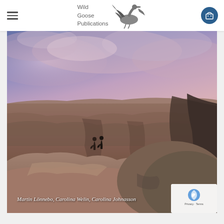[Figure (logo): Wild Goose Publications logo with flying goose bird illustration and text]
[Figure (photo): Scenic landscape photo of desert canyon at sunset/dusk with purple-pink sky, two people sitting on rocks in the foreground overlooking a vast canyon. Text overlay reads: Martin Lönnebo, Carolina Welin, Carolina Johnasson]